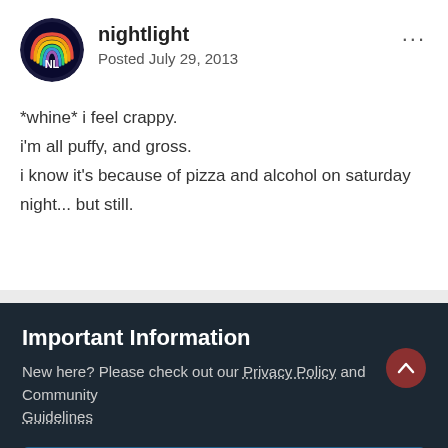[Figure (illustration): Circular avatar with rainbow/pride-colored graphic on dark blue background]
nightlight
Posted July 29, 2013
*whine* i feel crappy.
i'm all puffy, and gross.
i know it's because of pizza and alcohol on saturday night... but still.
« PREV   Page 1 of 6   NEXT »
Followers  0
Important Information
New here? Please check out our Privacy Policy and Community Guidelines
✓  I accept